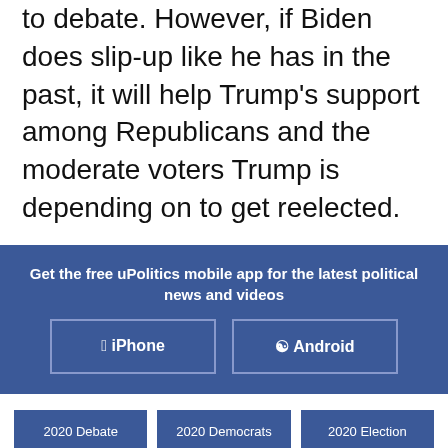to debate. However, if Biden does slip-up like he has in the past, it will help Trump's support among Republicans and the moderate voters Trump is depending on to get reelected.
Get the free uPolitics mobile app for the latest political news and videos
iPhone
Android
2020 Debate
2020 Democrats
2020 Election
Coronavirus
Donald Trump
Hillary Clinton